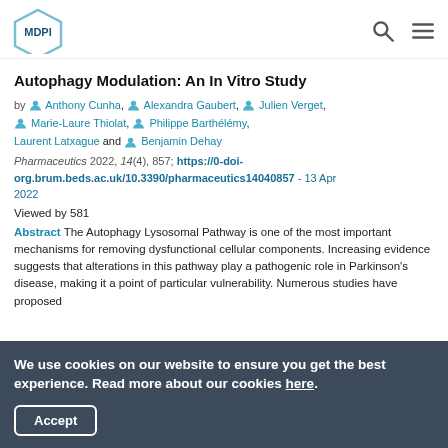MDPI [logo]
Autophagy Modulation: An In Vitro Study
by Anthony Cunha, Alexandra Gaubert, Julien Verget, Marie-Laure Thiolat, Philippe Barthélémy, Laurent Latxague and Benjamin Dehay
Pharmaceutics 2022, 14(4), 857; https://0-doi-org.brum.beds.ac.uk/10.3390/pharmaceutics14040857 - 13 Apr 2022
Viewed by 581
Abstract The Autophagy Lysosomal Pathway is one of the most important mechanisms for removing dysfunctional cellular components. Increasing evidence suggests that alterations in this pathway play a pathogenic role in Parkinson's disease, making it a point of particular vulnerability. Numerous studies have proposed
We use cookies on our website to ensure you get the best experience. Read more about our cookies here. Accept